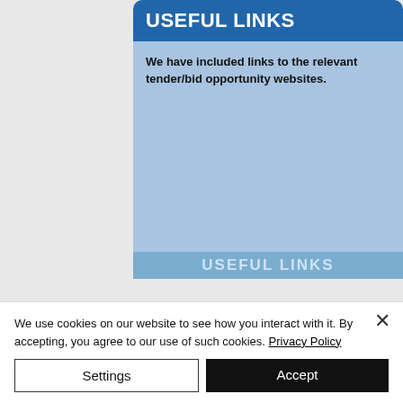[Figure (screenshot): A card UI element with a blue header reading 'USEFUL LINKS' and a light blue body area containing bold text: 'We have included links to the relevant tender/bid opportunity websites.' A partial second card header is visible at the bottom showing 'USEFUL LINKS' faded.]
We use cookies on our website to see how you interact with it. By accepting, you agree to our use of such cookies. Privacy Policy
Settings
Accept